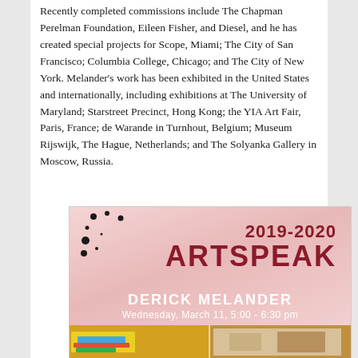Recently completed commissions include The Chapman Perelman Foundation, Eileen Fisher, and Diesel, and he has created special projects for Scope, Miami; The City of San Francisco; Columbia College, Chicago; and The City of New York. Melander's work has been exhibited in the United States and internationally, including exhibitions at The University of Maryland; Starstreet Precinct, Hong Kong; the YIA Art Fair, Paris, France; de Warande in Turnhout, Belgium; Museum Rijswijk, The Hague, Netherlands; and The Solyanka Gallery in Moscow, Russia.
[Figure (illustration): Poster for 2019-2020 ARTSPEAK event featuring Derick Melander, Wednesday March 11, 5:00-6:30 pm, pink background with bold dark red text and photos of artwork at bottom]